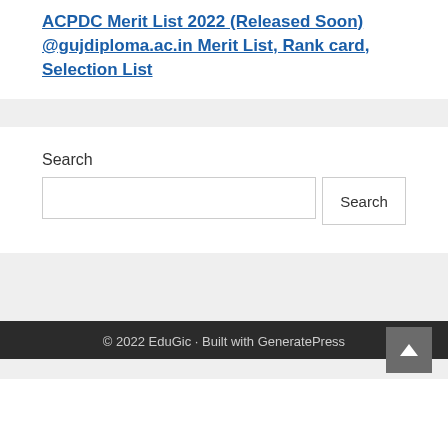ACPDC Merit List 2022 (Released Soon) @gujdiploma.ac.in Merit List, Rank card, Selection List
Search
© 2022 EduGic · Built with GeneratePress